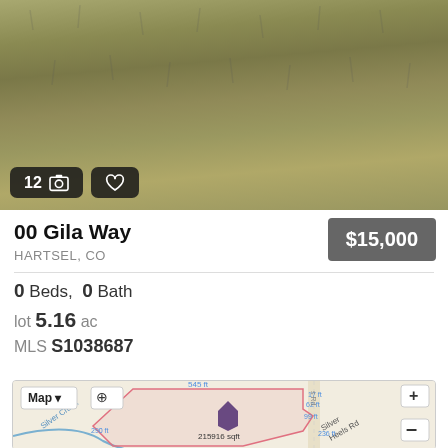[Figure (photo): Aerial/ground photo of dry grassy land with scrub brush, showing a rural vacant lot. Overlay badges show '12' with camera icon and a heart icon.]
00 Gila Way
HARTSEL, CO
$15,000
0 Beds,  0 Bath
lot 5.16 ac
MLS S1038687
[Figure (map): Map view showing a parcel boundary drawn in red/pink on a road map. The parcel is labeled 215916 sqft with surrounding measurements: 545 ft (top), 17 ft, 62 ft, 99 ft, 290 ft (left), 236 ft (right). Silver Heels Rd runs along the right side. A creek ('Silver Creek') runs diagonally. Map controls show +/- zoom buttons and Map dropdown.]